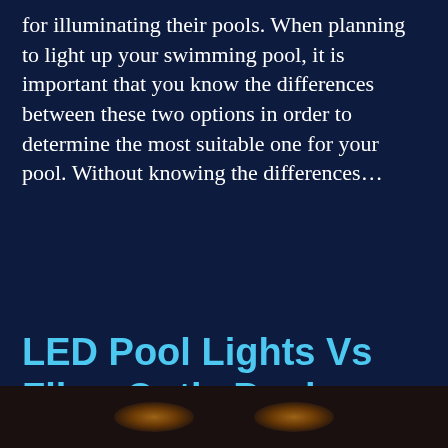for illuminating their pools. When planning to light up your swimming pool, it is important that you know the differences between these two options in order to determine the most suitable one for your pool. Without knowing the differences…
Read more
LED Pool Lights Vs Fiber Optic Pool Lights
[Figure (photo): Dark photograph of a pool at night with warm glowing lights visible]